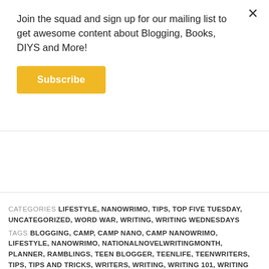Join the squad and sign up for our mailing list to get awesome content about Blogging, Books, DIYS and More!
Subscribe
Loading...
CATEGORIES LIFESTYLE, NANOWRIMO, TIPS, TOP FIVE TUESDAY, UNCATEGORIZED, WORD WAR, WRITING, WRITING WEDNESDAYS
TAGS BLOGGING, CAMP, CAMP NANO, CAMP NANOWRIMO, LIFESTYLE, NANOWRIMO, NATIONALNOVELWRITINGMONTH, PLANNER, RAMBLINGS, TEEN BLOGGER, TEENLIFE, TEENWRITERS, TIPS, TIPS AND TRICKS, WRITERS, WRITING, WRITING 101, WRITING TIPS